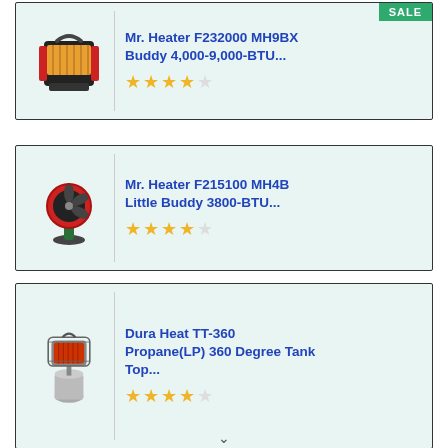[Figure (screenshot): Product listing card: Mr. Heater F232000 MH9BX Buddy 4,000-9,000-BTU... with 4.5 star rating and SALE badge]
[Figure (screenshot): Product listing card: Mr. Heater F215100 MH4B Little Buddy 3800-BTU... with 4.5 star rating]
[Figure (screenshot): Product listing card: Dura Heat TT-360 Propane(LP) 360 Degree Tank Top... with 4 star rating]
[Figure (screenshot): Product listing card (partial): SALE badge visible, product image partially visible at bottom]